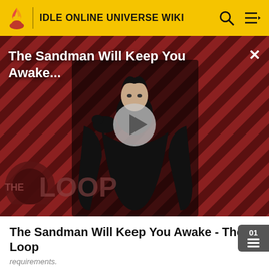IDLE ONLINE UNIVERSE WIKI
[Figure (screenshot): Video player thumbnail showing a dark figure in a cape against a red and black diagonal stripe background with 'THE LOOP' watermark and a play button. Title overlay reads 'The Sandman Will Keep You Awake...']
The Sandman Will Keep You Awake - The Loop
requirements.
| Image | Name | How to Unlock |
| --- | --- | --- |